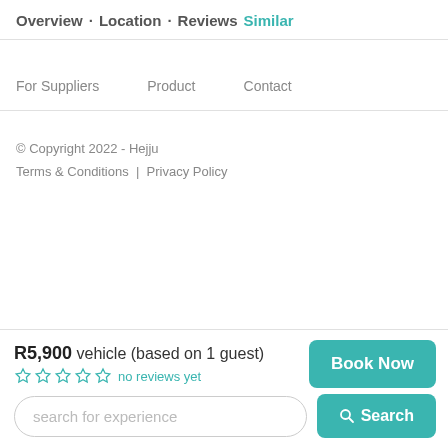Overview · Location · Reviews Similar
For Suppliers   Product   Contact
© Copyright 2022 - Hejju
Terms & Conditions  |  Privacy Policy
R5,900 vehicle (based on 1 guest)
no reviews yet
search for experience
Book Now
Search